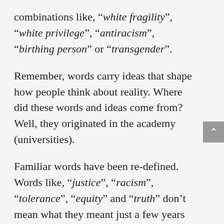combinations like, “white fragility”, “white privilege”, “antiracism”, “birthing person” or “transgender”.
Remember, words carry ideas that shape how people think about reality. Where did these words and ideas come from? Well, they originated in the academy (universities).
Familiar words have been re-defined. Words like, “justice”, “racism”, “tolerance”, “equity” and “truth” don’t mean what they meant just a few years ago. Fifty years ago, people would be perplexed if you told them you were transgender. No one would would understand what you meant if